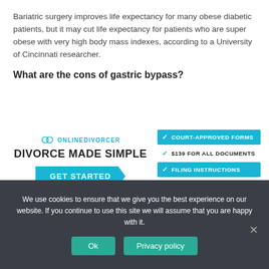Bariatric surgery improves life expectancy for many obese diabetic patients, but it may cut life expectancy for patients who are super obese with very high body mass indexes, according to a University of Cincinnati researcher.
What are the cons of gastric bypass?
[Figure (infographic): OnlineDivorcer advertisement banner with logo, 'DIVORCE MADE SIMPLE' heading, GET STARTED button, and feature list: COURT-APPROVED FORMS, $139 FOR ALL DOCUMENTS, FILING INSTRUCTIONS, 24/7 CUSTOMER SUPPORT]
Risks of Weight Loss Surgery
We use cookies to ensure that we give you the best experience on our website. If you continue to use this site we will assume that you are happy with it.